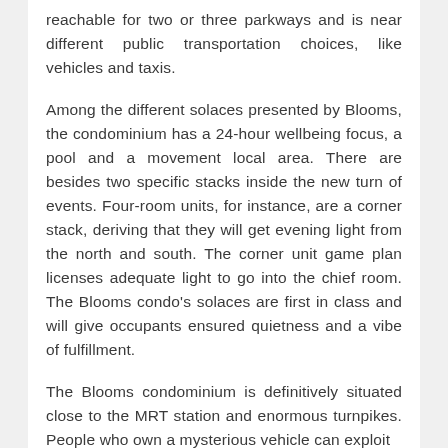reachable for two or three parkways and is near different public transportation choices, like vehicles and taxis.
Among the different solaces presented by Blooms, the condominium has a 24-hour wellbeing focus, a pool and a movement local area. There are besides two specific stacks inside the new turn of events. Four-room units, for instance, are a corner stack, deriving that they will get evening light from the north and south. The corner unit game plan licenses adequate light to go into the chief room. The Blooms condo's solaces are first in class and will give occupants ensured quietness and a vibe of fulfillment.
The Blooms condominium is definitively situated close to the MRT station and enormous turnpikes. People who own a mysterious vehicle can exploit